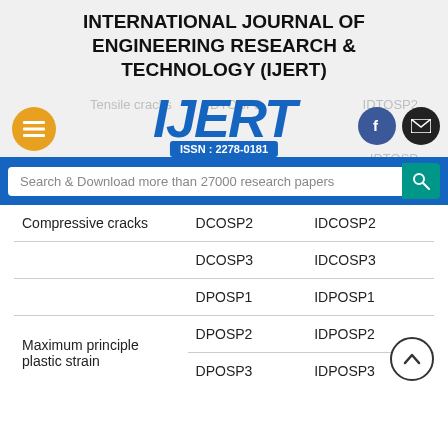INTERNATIONAL JOURNAL OF ENGINEERING RESEARCH & TECHNOLOGY (IJERT)
[Figure (logo): IJERT logo with ISSN: 2278-0181, menu button, Facebook and mail icons, and search bar]
|  | D | ID |
| --- | --- | --- |
| Compressive cracks | DCOSP2 | IDCOSP2 |
|  | DCOSP3 | IDCOSP3 |
|  | DPOSP1 | IDPOSP1 |
| Maximum principle plastic strain | DPOSP2 | IDPOSP2 |
|  | DPOSP3 | IDPOSP3 |